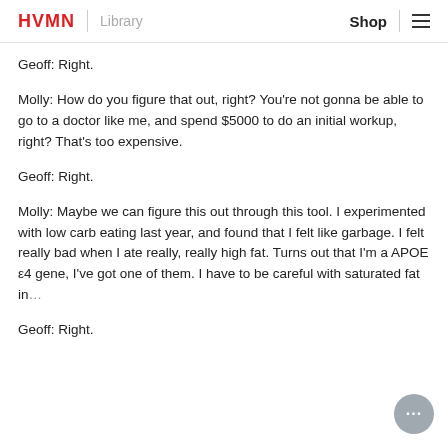HVMN | Library   Shop ≡
Geoff: Right.
Molly: How do you figure that out, right? You're not gonna be able to go to a doctor like me, and spend $5000 to do an initial workup, right? That's too expensive.
Geoff: Right.
Molly: Maybe we can figure this out through this tool. I experimented with low carb eating last year, and found that I felt like garbage. I felt really bad when I ate really, really high fat. Turns out that I'm a APOE ε4 gene, I've got one of them. I have to be careful with saturated fat in…
Geoff: Right.